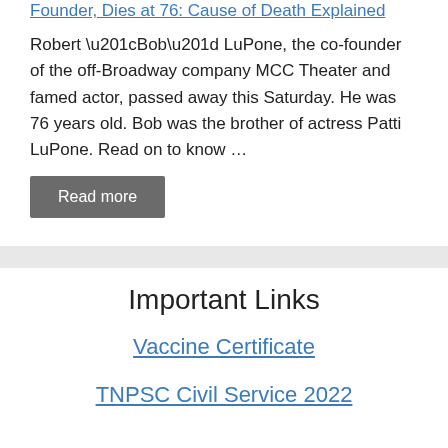Founder, Dies at 76: Cause of Death Explained
Robert “Bob” LuPone, the co-founder of the off-Broadway company MCC Theater and famed actor, passed away this Saturday. He was 76 years old. Bob was the brother of actress Patti LuPone. Read on to know …
Read more
Important Links
Vaccine Certificate
TNPSC Civil Service 2022